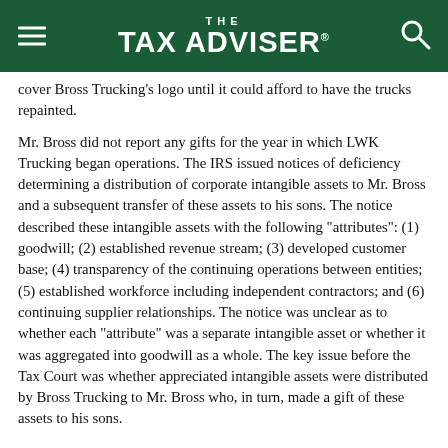THE TAX ADVISER
cover Bross Trucking's logo until it could afford to have the trucks repainted.
Mr. Bross did not report any gifts for the year in which LWK Trucking began operations. The IRS issued notices of deficiency determining a distribution of corporate intangible assets to Mr. Bross and a subsequent transfer of these assets to his sons. The notice described these intangible assets with the following "attributes": (1) goodwill; (2) established revenue stream; (3) developed customer base; (4) transparency of the continuing operations between entities; (5) established workforce including independent contractors; and (6) continuing supplier relationships. The notice was unclear as to whether each "attribute" was a separate intangible asset or whether it was aggregated into goodwill as a whole. The key issue before the Tax Court was whether appreciated intangible assets were distributed by Bross Trucking to Mr. Bross who, in turn, made a gift of these assets to his sons.